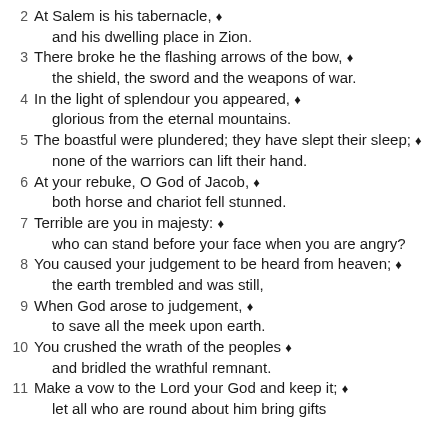2  At Salem is his tabernacle, ♦ and his dwelling place in Zion.
3  There broke he the flashing arrows of the bow, ♦ the shield, the sword and the weapons of war.
4  In the light of splendour you appeared, ♦ glorious from the eternal mountains.
5  The boastful were plundered; they have slept their sleep; ♦ none of the warriors can lift their hand.
6  At your rebuke, O God of Jacob, ♦ both horse and chariot fell stunned.
7  Terrible are you in majesty: ♦ who can stand before your face when you are angry?
8  You caused your judgement to be heard from heaven; ♦ the earth trembled and was still,
9  When God arose to judgement, ♦ to save all the meek upon earth.
10  You crushed the wrath of the peoples ♦ and bridled the wrathful remnant.
11  Make a vow to the Lord your God and keep it; ♦ let all who are round about him bring gifts